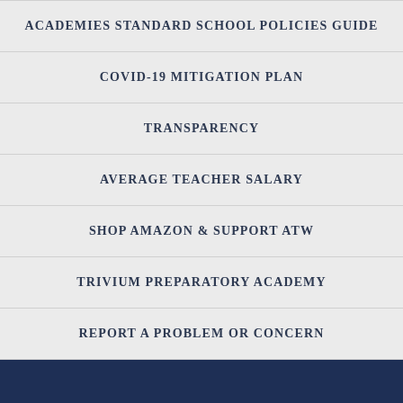ACADEMIES STANDARD SCHOOL POLICIES GUIDE
COVID-19 MITIGATION PLAN
TRANSPARENCY
AVERAGE TEACHER SALARY
SHOP AMAZON & SUPPORT ATW
TRIVIUM PREPARATORY ACADEMY
REPORT A PROBLEM OR CONCERN